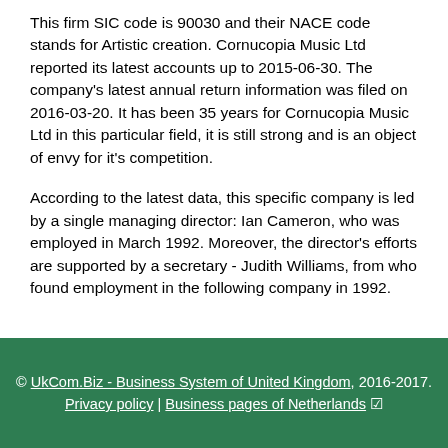This firm SIC code is 90030 and their NACE code stands for Artistic creation. Cornucopia Music Ltd reported its latest accounts up to 2015-06-30. The company's latest annual return information was filed on 2016-03-20. It has been 35 years for Cornucopia Music Ltd in this particular field, it is still strong and is an object of envy for it's competition.
According to the latest data, this specific company is led by a single managing director: Ian Cameron, who was employed in March 1992. Moreover, the director's efforts are supported by a secretary - Judith Williams, from who found employment in the following company in 1992.
© UkCom.Biz - Business System of United Kingdom, 2016-2017. Privacy policy | Business pages of Netherlands ✓